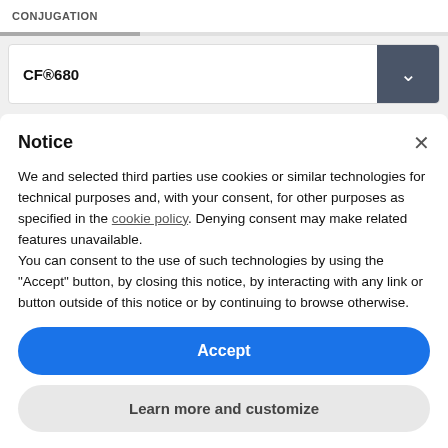CONJUGATION
CF®680
Notice
We and selected third parties use cookies or similar technologies for technical purposes and, with your consent, for other purposes as specified in the cookie policy. Denying consent may make related features unavailable.
You can consent to the use of such technologies by using the "Accept" button, by closing this notice, by interacting with any link or button outside of this notice or by continuing to browse otherwise.
Accept
Learn more and customize